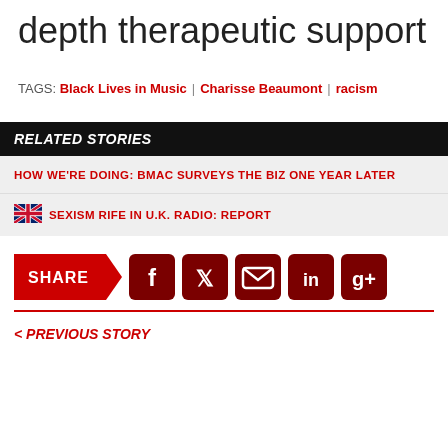depth therapeutic support
TAGS: Black Lives in Music | Charisse Beaumont | racism
RELATED STORIES
HOW WE'RE DOING: BMAC SURVEYS THE BIZ ONE YEAR LATER
🇬🇧 SEXISM RIFE IN U.K. RADIO: REPORT
[Figure (infographic): Share bar with social media icons: SHARE button (red chevron), Facebook, Twitter, Email, LinkedIn, Google+ icons]
< PREVIOUS STORY